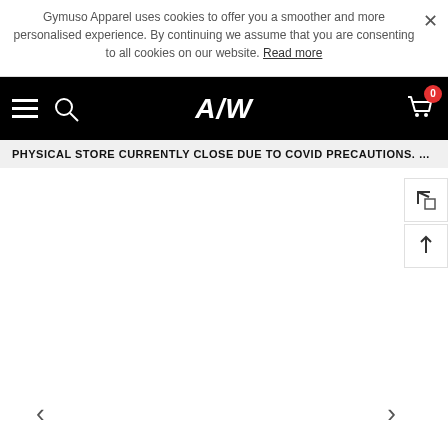Gymuso Apparel uses cookies to offer you a smoother and more personalised experience. By continuing we assume that you are consenting to all cookies on our website. Read more
A/W
PHYSICAL STORE CURRENTLY CLOSE DUE TO COVID PRECAUTIONS. STAY SAFE & HEA...
[Figure (screenshot): White blank main content area with side navigation buttons (expand icon and up arrow icon) on the right, and left/right carousel navigation arrows at the bottom]